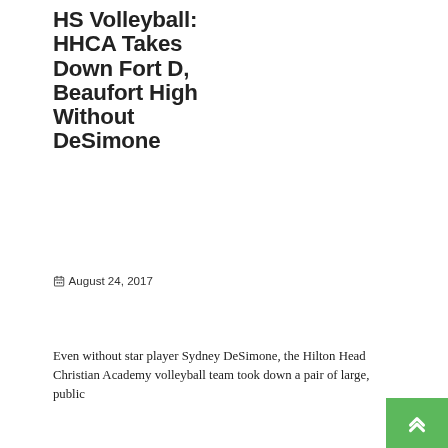HS Volleyball: HHCA Takes Down Fort D, Beaufort High Without DeSimone
August 24, 2017
Even without star player Sydney DeSimone, the Hilton Head Christian Academy volleyball team took down a pair of large, public